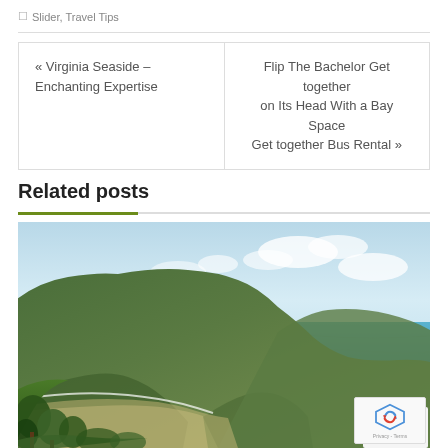Slider, Travel Tips
« Virginia Seaside – Enchanting Expertise
Flip The Bachelor Get together on Its Head With a Bay Space Get together Bus Rental »
Related posts
[Figure (photo): Aerial coastal landscape showing dramatic green cliffs meeting bright blue ocean water, with lush tropical vegetation in the foreground]